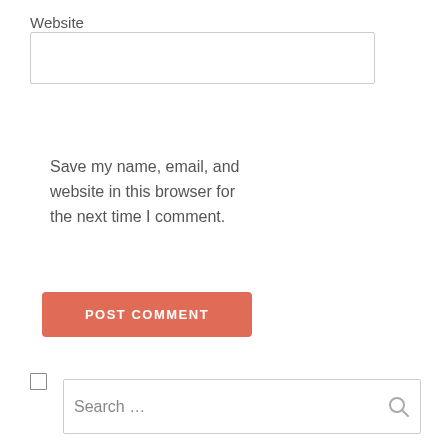Website
Save my name, email, and website in this browser for the next time I comment.
POST COMMENT
Search …